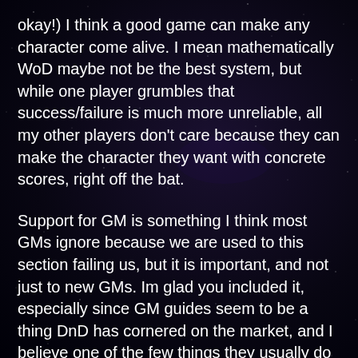okay!) I think a good game can make any character come alive. I mean mathematically WoD maybe not be the best system, but while one player grumbles that success/failure is much more unreliable, all my other players don't care because they can make the character they want with concrete scores, right off the bat.
Support for GM is something I think most GMs ignore because we are used to this section failing us, but it is important, and not just to new GMs. Im glad you included it, especially since GM guides seem to be a thing DnD has cornered on the market, and I believe one of the few things they usually do quite well.